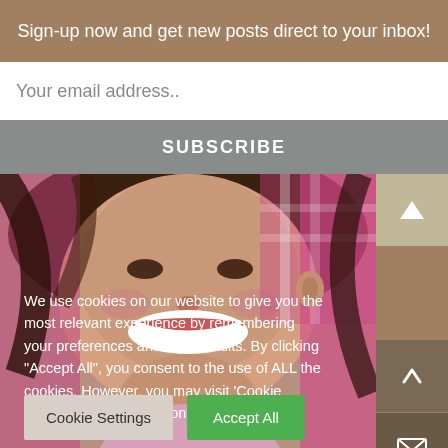Sign-up now and get new posts direct to your inbox!
Your email address..
SUBSCRIBE
[Figure (photo): A smiling woman with brown hair lying down, wearing a pink shirt, photographed from above]
We use cookies on our website to give you the most relevant experience by remembering your preferences and repeat visits. By clicking "Accept All", you consent to the use of ALL the cookies. However, you may visit 'Cookie Settings' to provide a controlled consent.
Cookie Settings
Accept All